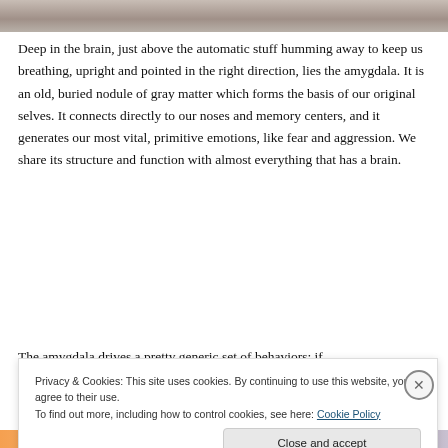[Figure (photo): Partial view of a photo at the top of the page, showing a light-colored background, appears to be a person or animal]
Deep in the brain, just above the automatic stuff humming away to keep us breathing, upright and pointed in the right direction, lies the amygdala. It is an old, buried nodule of gray matter which forms the basis of our original selves. It connects directly to our noses and memory centers, and it generates our most vital, primitive emotions, like fear and aggression. We share its structure and function with almost everything that has a brain.
The amygdala drives a pretty generic set of behaviors: if
Privacy & Cookies: This site uses cookies. By continuing to use this website, you agree to their use.
To find out more, including how to control cookies, see here: Cookie Policy
[Figure (photo): Colorful strip at the bottom of the page with orange, peach, and purple gradient colors]